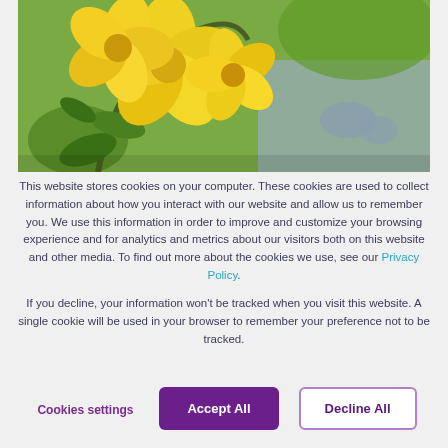[Figure (photo): Close-up photo of yellow flowers (trumpet-shaped) in front of a blurred gray stone surface outdoors with green background]
This website stores cookies on your computer. These cookies are used to collect information about how you interact with our website and allow us to remember you. We use this information in order to improve and customize your browsing experience and for analytics and metrics about our visitors both on this website and other media. To find out more about the cookies we use, see our Privacy Policy.

If you decline, your information won't be tracked when you visit this website. A single cookie will be used in your browser to remember your preference not to be tracked.
Cookies settings
Accept All
Decline All